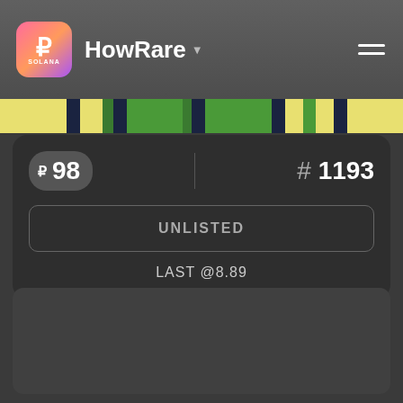HowRare
[Figure (infographic): Color bar showing NFT trait colors: yellow, dark navy, yellow-green, dark navy, green, yellow-green, dark navy, green, dark navy, yellow, green, yellow, dark navy, yellow]
R 98
#1193
UNLISTED
LAST @8.89